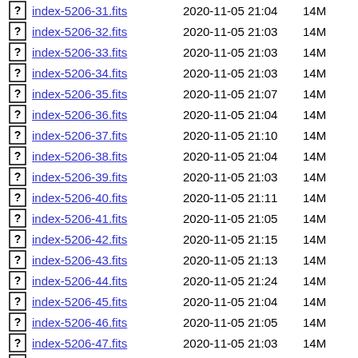index-5206-31.fits 2020-11-05 21:04 14M
index-5206-32.fits 2020-11-05 21:03 14M
index-5206-33.fits 2020-11-05 21:03 14M
index-5206-34.fits 2020-11-05 21:03 14M
index-5206-35.fits 2020-11-05 21:07 14M
index-5206-36.fits 2020-11-05 21:04 14M
index-5206-37.fits 2020-11-05 21:10 14M
index-5206-38.fits 2020-11-05 21:04 14M
index-5206-39.fits 2020-11-05 21:03 14M
index-5206-40.fits 2020-11-05 21:11 14M
index-5206-41.fits 2020-11-05 21:05 14M
index-5206-42.fits 2020-11-05 21:15 14M
index-5206-43.fits 2020-11-05 21:13 14M
index-5206-44.fits 2020-11-05 21:24 14M
index-5206-45.fits 2020-11-05 21:04 14M
index-5206-46.fits 2020-11-05 21:05 14M
index-5206-47.fits 2020-11-05 21:03 14M
index-5205-00.fits 2020-09-10 19:06 28M